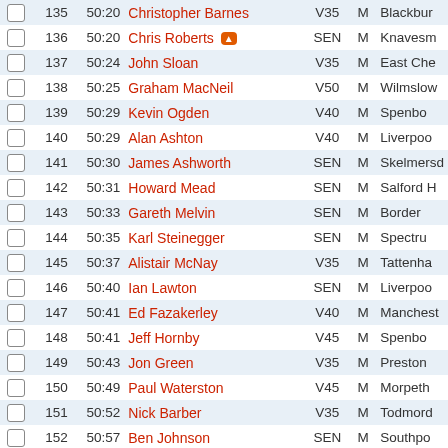|  | # | Time | Name | Cat | Sex | Club |
| --- | --- | --- | --- | --- | --- | --- |
| ☐ | 135 | 50:20 | Christopher Barnes | V35 | M | Blackbur |
| ☐ | 136 | 50:20 | Chris Roberts 🔥 | SEN | M | Knavesm |
| ☐ | 137 | 50:24 | John Sloan | V35 | M | East Che |
| ☐ | 138 | 50:25 | Graham MacNeil | V50 | M | Wilmslow |
| ☐ | 139 | 50:29 | Kevin Ogden | V40 | M | Spenbo |
| ☐ | 140 | 50:29 | Alan Ashton | V40 | M | Liverpoo |
| ☐ | 141 | 50:30 | James Ashworth | SEN | M | Skelmersd |
| ☐ | 142 | 50:31 | Howard Mead | SEN | M | Salford H |
| ☐ | 143 | 50:33 | Gareth Melvin | SEN | M | Border |
| ☐ | 144 | 50:35 | Karl Steinegger | SEN | M | Spectru |
| ☐ | 145 | 50:37 | Alistair McNay | V35 | M | Tattenha |
| ☐ | 146 | 50:40 | Ian Lawton | SEN | M | Liverpoo |
| ☐ | 147 | 50:41 | Ed Fazakerley | V40 | M | Manchest |
| ☐ | 148 | 50:41 | Jeff Hornby | V45 | M | Spenbo |
| ☐ | 149 | 50:43 | Jon Green | V35 | M | Preston |
| ☐ | 150 | 50:49 | Paul Waterston | V45 | M | Morpeth |
| ☐ | 151 | 50:52 | Nick Barber | V35 | M | Todmord |
| ☐ | 152 | 50:57 | Ben Johnson | SEN | M | Southpo |
| ☐ | 153 | 51:01 | Robbie Collins 🔥 | SEN | M | Liverpoo |